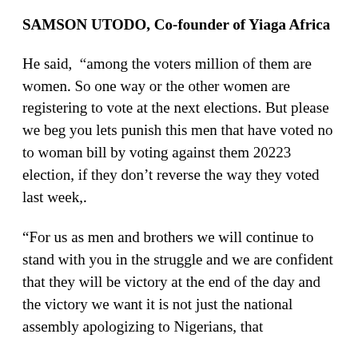SAMSON UTODO, Co-founder of Yiaga Africa
He said, “among the voters million of them are women. So one way or the other women are registering to vote at the next elections. But please we beg you lets punish this men that have voted no to woman bill by voting against them 20223 election, if they don’t reverse the way they voted last week,.
“For us as men and brothers we will continue to stand with you in the struggle and we are confident that they will be victory at the end of the day and the victory we want it is not just the national assembly apologizing to Nigerians, that